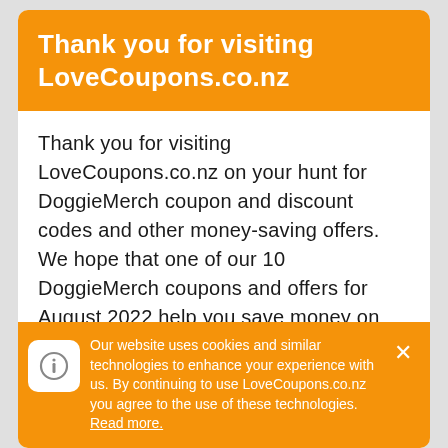Thank you for visiting LoveCoupons.co.nz
Thank you for visiting LoveCoupons.co.nz on your hunt for DoggieMerch coupon and discount codes and other money-saving offers. We hope that one of our 10 DoggieMerch coupons and offers for August 2022 help you save money on your next purchase. When you visit LoveCoupons.co.nz you can rest assured that our team has searched high and low to find all available DoggieMerch deals. This includes checking the DoggieMerch social accounts like Facebook, Twitter and Instagram
Our website uses cookies and similar technologies to enhance your experience with us. By continuing to use LoveCoupons.co.nz you agree to the use of these technologies. Read more.